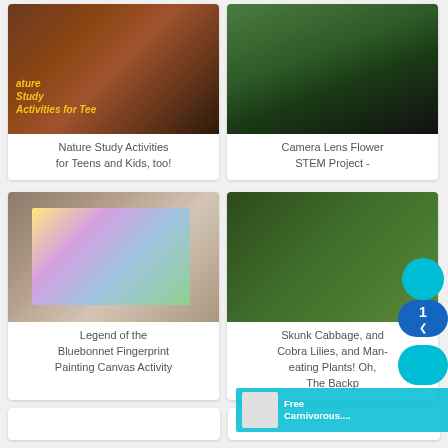[Figure (photo): Art supplies and nature study materials on a wooden surface with text overlay 'Nature Study Activities for Teens']
Nature Study Activities for Teens and Kids, too!
[Figure (photo): Person in black shirt holding a purple flower outdoors on grass]
Camera Lens Flower STEM Project -
[Figure (photo): Watercolor painting of bluebonnet flowers on an easel with decorative stand]
Legend of the Bluebonnet Fingerprint Painting Canvas Activity
[Figure (photo): Dense green foliage with skunk cabbage and cobra lilies in natural setting]
Skunk Cabbage, and Cobra Lilies, and Man-eating Plants! Oh, The Backp
[Figure (photo): Partial bottom card left]
[Figure (photo): Partial bottom card right]